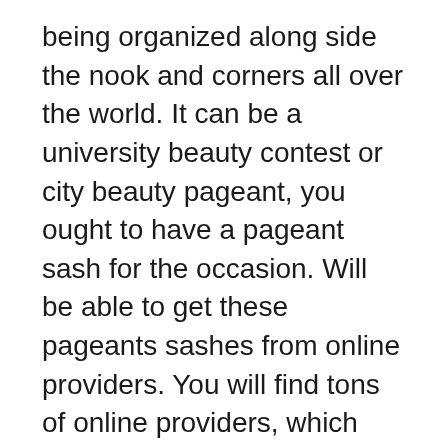being organized along side the nook and corners all over the world. It can be a university beauty contest or city beauty pageant, you ought to have a pageant sash for the occasion. Will be able to get these pageants sashes from online providers. You will find tons of online providers, which offer beautiful sashes for the various occasions. The sash will be the part among the different beauty pageant from early times the contests. Most of the sash is made from satin. There are many companies, which decide to make various sashes for different prom meetings.
To developed into a fashion designer, you have a need to live and breathe LATEST FASHION NEWS. When you go to your mall